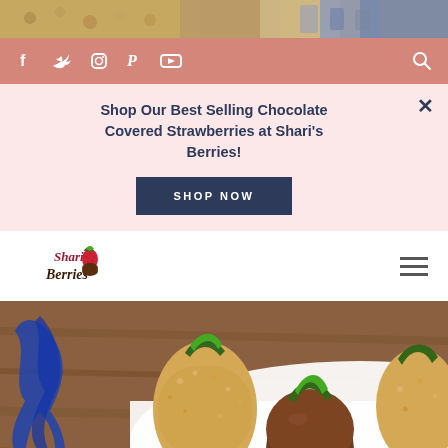[Figure (photo): Top strip showing food items - appears to be chocolate covered treats and decorative items]
Social media icons: Facebook, Twitter, Instagram, Pinterest, YouTube, Search
Shop Our Best Selling Chocolate Covered Strawberries at Shari's Berries!
SHOP NOW
[Figure (logo): Shari's Berries logo with strawberry and chocolate imagery]
[Figure (photo): Chocolate covered strawberries on a white plate with blue ribbon decorations and gold star confetti on a wooden surface]